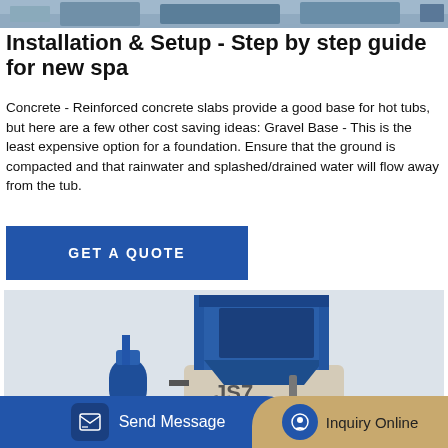[Figure (photo): Top portion of an industrial/construction site or factory setting, showing blue machinery and building structures in background.]
Installation & Setup - Step by step guide for new spa
Concrete - Reinforced concrete slabs provide a good base for hot tubs, but here are a few other cost saving ideas: Gravel Base - This is the least expensive option for a foundation. Ensure that the ground is compacted and that rainwater and splashed/drained water will flow away from the tub.
[Figure (illustration): Blue GET A QUOTE button]
[Figure (photo): Industrial concrete mixer machine (JS7-series), blue and beige colored, with hopper and drum, on light grey background.]
[Figure (other): Bottom navigation bar with Send Message button (blue) and Inquiry Online button (tan/gold).]